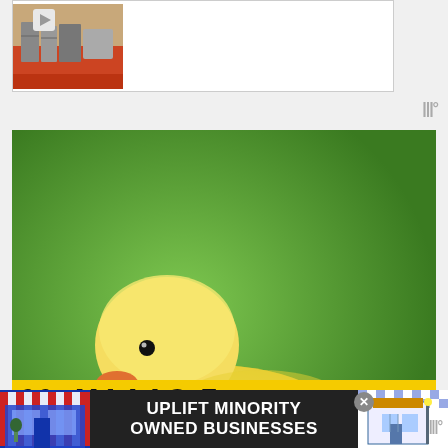[Figure (screenshot): Top advertisement banner with play button icon and room/appliance thumbnail image]
|||°
[Figure (photo): Close-up photo of a fluffy yellow duckling sitting on green grass, with heart button (99 likes), share button, and 'WHAT'S NEXT → Magpie Duck Breed Profile' overlay in bottom right]
[Figure (screenshot): Yellow banner with large bold italic text partially visible at bottom of duck photo area]
[Figure (screenshot): Bottom black advertisement bar: UPLIFT MINORITY OWNED BUSINESSES with store graphics on left and right, close X button, and weather logo |||°]